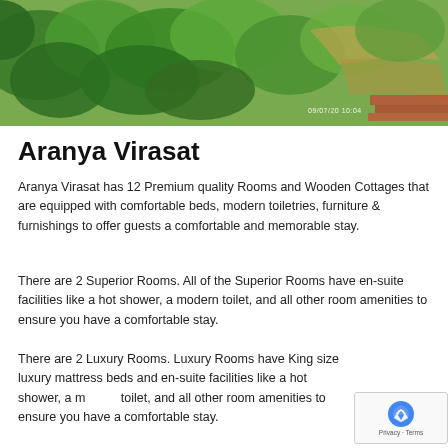[Figure (photo): Aerial or elevated view of lush green trees and garden area with a path, taken outdoors. Timestamp visible in lower right corner.]
Aranya Virasat
Aranya Virasat has 12 Premium quality Rooms and Wooden Cottages that are equipped with comfortable beds, modern toiletries, furniture & furnishings to offer guests a comfortable and memorable stay.
There are 2 Superior Rooms. All of the Superior Rooms have en-suite facilities like a hot shower, a modern toilet, and all other room amenities to ensure you have a comfortable stay.
There are 2 Luxury Rooms. Luxury Rooms have King size luxury mattress beds and en-suite facilities like a hot shower, a modern toilet, and all other room amenities to ensure you have a comfortable stay.